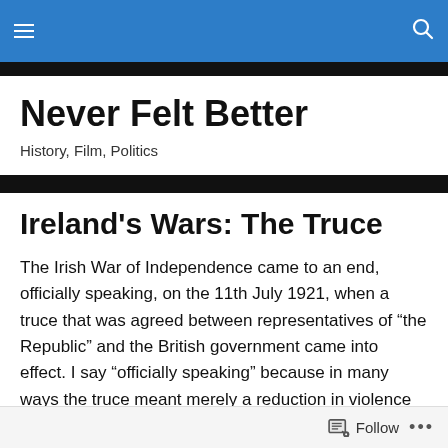Never Felt Better — site header with hamburger menu and search icon
Never Felt Better
History, Film, Politics
Ireland's Wars: The Truce
The Irish War of Independence came to an end, officially speaking, on the 11th July 1921, when a truce that was agreed between representatives of “the Republic” and the British government came into effect. I say “officially speaking” because in many ways the truce meant merely a reduction in violence and not a stop to it, and to a very
Follow ...